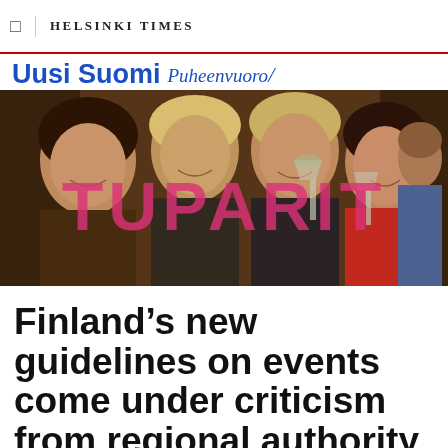HELSINKI TIMES
[Figure (photo): Uusi Suomi Puheenvuoro banner with photo of young women celebrating at a party, with large pink text 'TUPARIT' overlaid on the image]
Finland's new guidelines on events come under criticism from regional authority